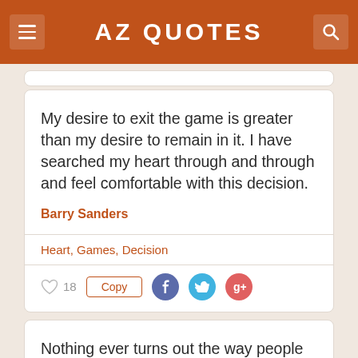AZ QUOTES
My desire to exit the game is greater than my desire to remain in it. I have searched my heart through and through and feel comfortable with this decision.
Barry Sanders
Heart, Games, Decision
18 Copy
Nothing ever turns out the way people expect it to.